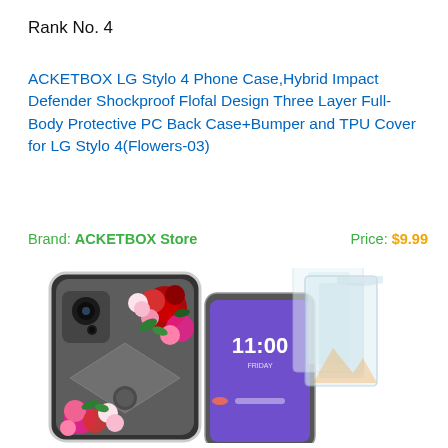Rank No. 4
ACKETBOX LG Stylo 4 Phone Case,Hybrid Impact Defender Shockproof Flofal Design Three Layer Full-Body Protective PC Back Case+Bumper and TPU Cover for LG Stylo 4(Flowers-03)
Brand: ACKETBOX Store
Price: $9.99
[Figure (photo): Product photo showing two LG Stylo 4 phone cases with floral design on the back (red, pink, and white roses on clear/black background), and two clear glass screen protectors displayed beside the second phone.]